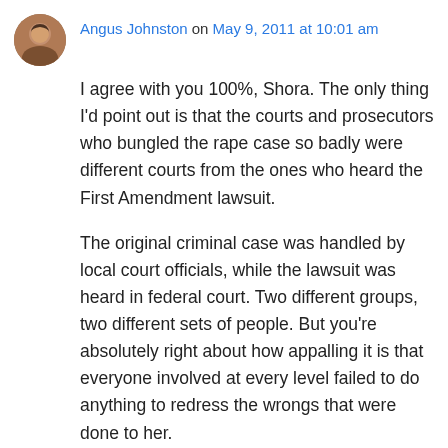Angus Johnston on May 9, 2011 at 10:01 am
I agree with you 100%, Shora. The only thing I'd point out is that the courts and prosecutors who bungled the rape case so badly were different courts from the ones who heard the First Amendment lawsuit.
The original criminal case was handled by local court officials, while the lawsuit was heard in federal court. Two different groups, two different sets of people. But you're absolutely right about how appalling it is that everyone involved at every level failed to do anything to redress the wrongs that were done to her.
And I'll say it again: If the school takes even a ...that $45,000 f...